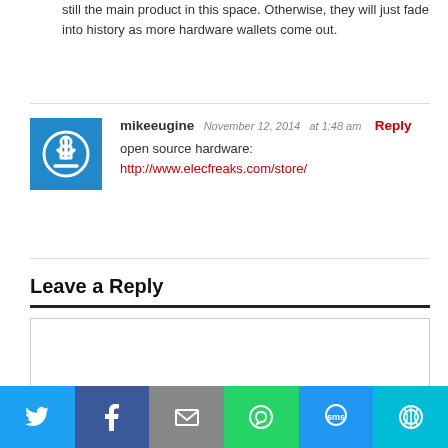still the main product in this space. Otherwise, they will just fade into history as more hardware wallets come out.
mikeeugine  November 12, 2014  at 1:48 am  Reply
open source hardware:
http://www.elecfreaks.com/store/
Leave a Reply
[Figure (screenshot): Comment text input textarea box]
[Figure (infographic): Social share bar with Twitter, Facebook, Email, WhatsApp, SMS, and More buttons]